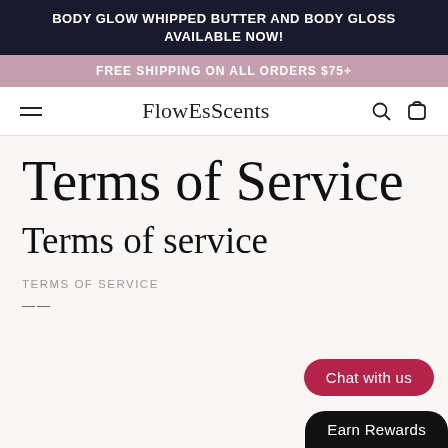BODY GLOW WHIPPED BUTTER AND BODY GLOSS AVAILABLE NOW!
FREE SHIPPING ON ALL ORDERS $75+
FlowEsScents
Terms of Service
Terms of service
TERMS OF SERVICE
----